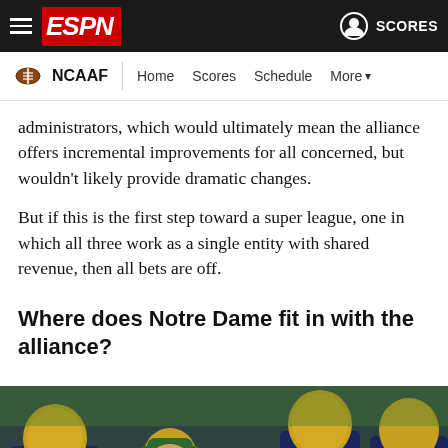ESPN - NCAAF | Home Scores Schedule More
administrators, which would ultimately mean the alliance offers incremental improvements for all concerned, but wouldn't likely provide dramatic changes.
But if this is the first step toward a super league, one in which all three work as a single entity with shared revenue, then all bets are off.
Where does Notre Dame fit in with the alliance?
[Figure (photo): Notre Dame football players in navy helmets and uniforms, with a coach in the foreground wearing a green cap, player numbers 72 and 69 visible]